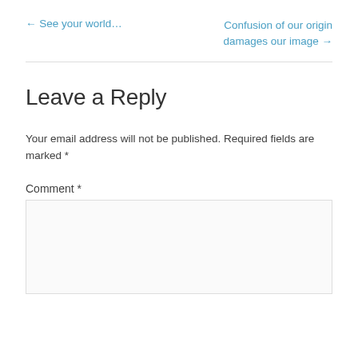← See your world…
Confusion of our origin damages our image →
Leave a Reply
Your email address will not be published. Required fields are marked *
Comment *